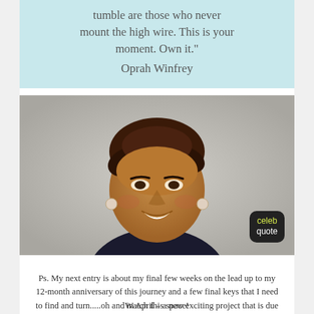tumble are those who never mount the high wire. This is your moment. Own it." Oprah Winfrey
[Figure (photo): Portrait photo of Oprah Winfrey smiling, with a 'celeb quote' speech bubble badge in the lower right corner]
Ps. My next entry is about my final few weeks on the lead up to my 12-month anniversary of this journey and a few final keys that I need to find and turn.....oh and in April – a new exciting project that is due to start before I go to my course in Bali!
Watch this space!